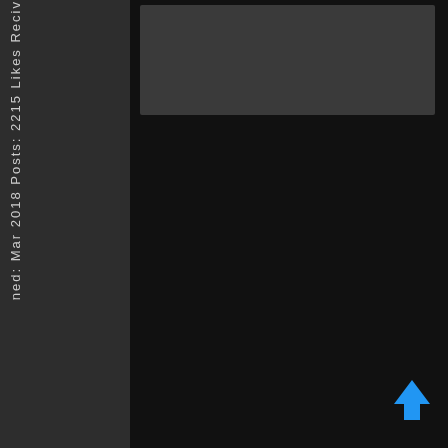ned: Mar 2018 Posts: 2215 Likes Reciv
[Figure (screenshot): Dark gray rectangular image area at top right of page]
[Figure (illustration): Blue upward-pointing arrow icon at bottom right]